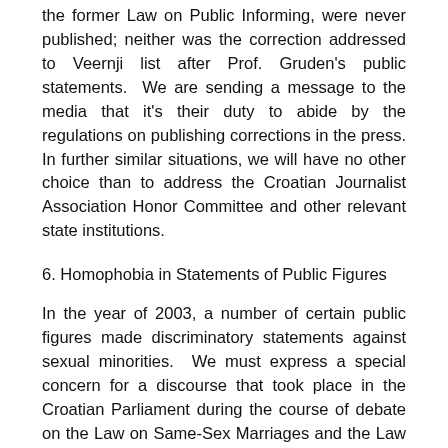the former Law on Public Informing, were never published; neither was the correction addressed to Večernji list after Prof. Gruden's public statements. We are sending a message to the media that it's their duty to abide by the regulations on publishing corrections in the press. In further similar situations, we will have no other choice than to address the Croatian Journalist Association Honor Committee and other relevant state institutions.
6. Homophobia in Statements of Public Figures
In the year of 2003, a number of certain public figures made discriminatory statements against sexual minorities. We must express a special concern for a discourse that took place in the Croatian Parliament during the course of debate on the Law on Same-Sex Marriages and the Law on Granting (Political) Asylum. Such speeches were mostly made by now former MP's, Mr. Anto Kovačević (Croatian Christian Democratic